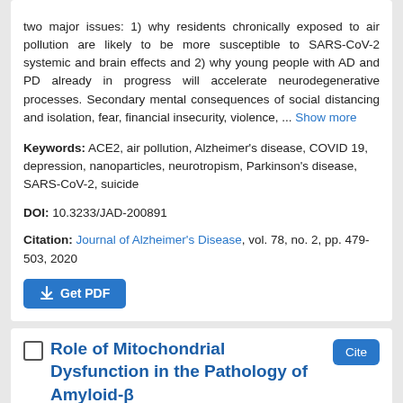two major issues: 1) why residents chronically exposed to air pollution are likely to be more susceptible to SARS-CoV-2 systemic and brain effects and 2) why young people with AD and PD already in progress will accelerate neurodegenerative processes. Secondary mental consequences of social distancing and isolation, fear, financial insecurity, violence, ... Show more
Keywords: ACE2, air pollution, Alzheimer's disease, COVID 19, depression, nanoparticles, neurotropism, Parkinson's disease, SARS-CoV-2, suicide
DOI: 10.3233/JAD-200891
Citation: Journal of Alzheimer's Disease, vol. 78, no. 2, pp. 479-503, 2020
[Figure (other): Get PDF button]
Role of Mitochondrial Dysfunction in the Pathology of Amyloid-β
Authors: Huang, Zhenting | Yan, Qian | Wang, Yangyang | Zou, Qian | Li, Jing | Liu, Zhou | Cai, Zhiyou